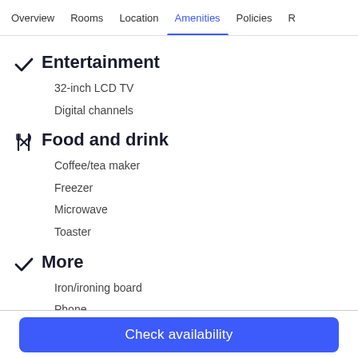Overview | Rooms | Location | Amenities (active) | Policies | R...
Entertainment
32-inch LCD TV
Digital channels
Food and drink
Coffee/tea maker
Freezer
Microwave
Toaster
More
Iron/ironing board
Phone
Connectivity...